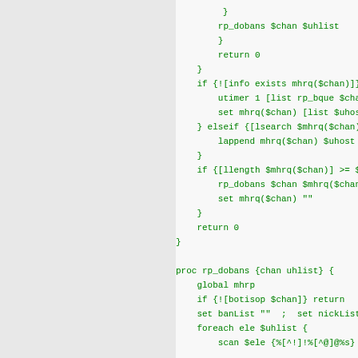[Figure (screenshot): Source code screenshot showing Tcl scripting language code with green monospace text on light background. Code includes proc definitions for rp_dobans function with control flow logic.]